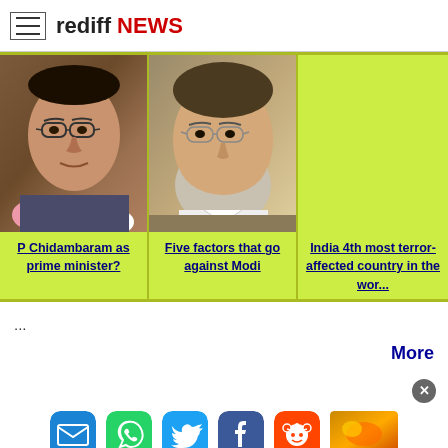rediff NEWS
[Figure (photo): Three-panel news strip on lime-green background. Left panel: photo of P Chidambaram with glasses, right panel: photo of Narendra Modi with beard, third panel: lime green background. Each panel has a bold linked headline below the photo.]
P Chidambaram as prime minister?
Five factors that go against Modi
India 4th most terror-affected country in the wor...
...
More
[Figure (screenshot): Social share icons: mail (blue), WhatsApp (green), Twitter (light blue), Facebook (dark blue), Reddit (orange-red). Plus a small thumbnail ad image on the right.]